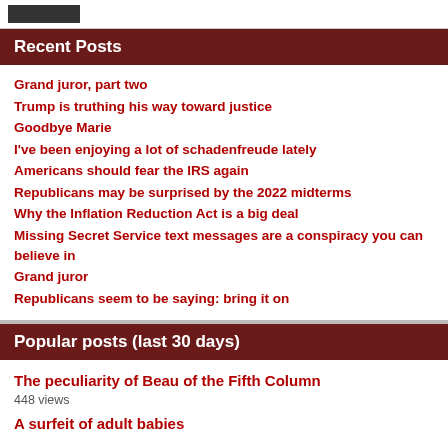[logo]
Recent Posts
Grand juror, part two
Trump is truthing his way toward justice
Goodbye Marie
I've been enjoying a lot of schadenfreude lately
Americans should fear the IRS again
Republicans may be surprised by the 2022 midterms
Why the Inflation Reduction Act is a big deal
Missing Secret Service text messages are a conspiracy you can believe in
Grand juror
Republicans seem to be saying: bring it on
Popular posts (last 30 days)
The peculiarity of Beau of the Fifth Column
448 views
A surfeit of adult babies